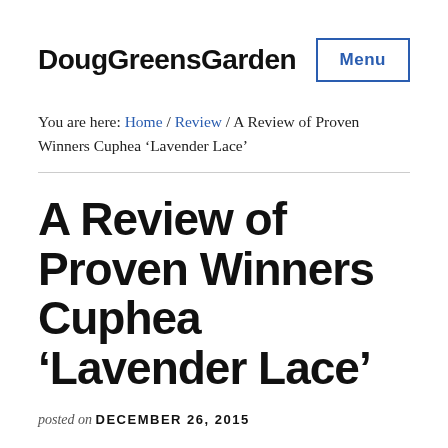DougGreensGarden
You are here: Home / Review / A Review of Proven Winners Cuphea ‘Lavender Lace’
A Review of Proven Winners Cuphea ‘Lavender Lace’
posted on DECEMBER 26, 2015